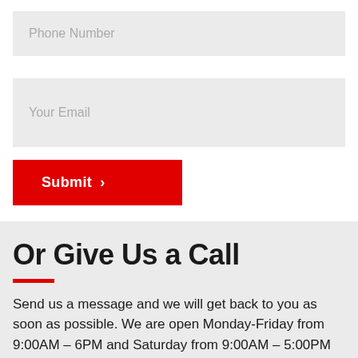Phone Number
Your Email
Submit ›
Or Give Us a Call
Send us a message and we will get back to you as soon as possible. We are open Monday-Friday from 9:00AM – 6PM and Saturday from 9:00AM – 5:00PM